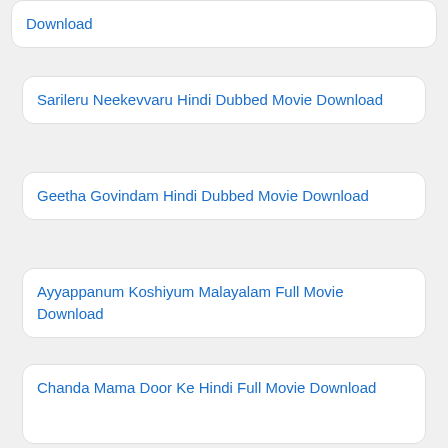Download
Sarileru Neekevvaru Hindi Dubbed Movie Download
Geetha Govindam Hindi Dubbed Movie Download
Ayyappanum Koshiyum Malayalam Full Movie Download
Chanda Mama Door Ke Hindi Full Movie Download
Dil Bechara Hindi Full Movie Download
Paani Hindi Full Movie Download